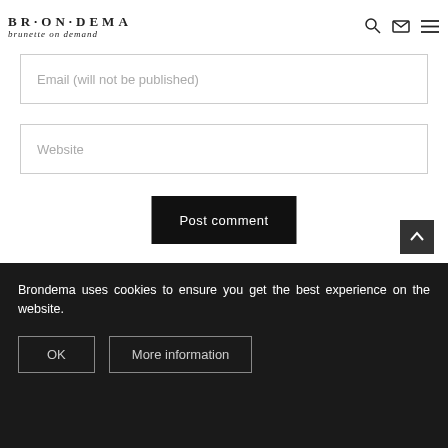BRONDEMA brunette on demand
Email (will not be published)
Website
Post comment
12 Comments
Brondema uses cookies to ensure you get the best experience on the website.
OK
More information